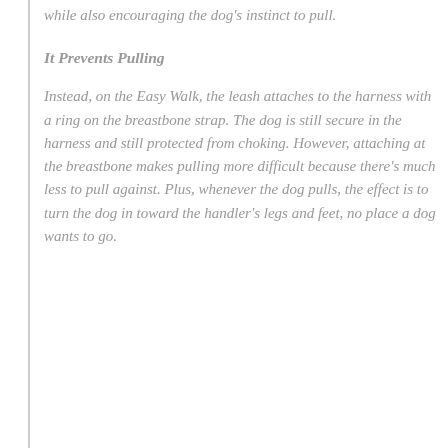while also encouraging the dog's instinct to pull.
It Prevents Pulling
Instead, on the Easy Walk, the leash attaches to the harness with a ring on the breastbone strap. The dog is still secure in the harness and still protected from choking. However, attaching at the breastbone makes pulling more difficult because there's much less to pull against. Plus, whenever the dog pulls, the effect is to turn the dog in toward the handler's legs and feet, no place a dog wants to go.